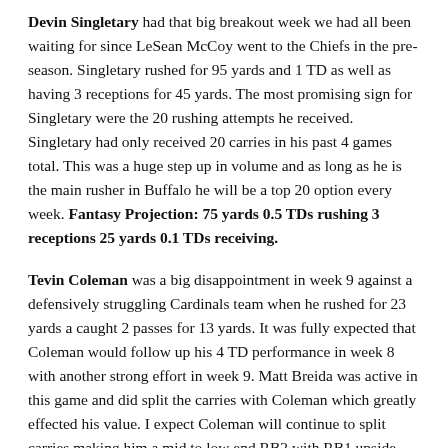Devin Singletary had that big breakout week we had all been waiting for since LeSean McCoy went to the Chiefs in the pre-season. Singletary rushed for 95 yards and 1 TD as well as having 3 receptions for 45 yards. The most promising sign for Singletary were the 20 rushing attempts he received. Singletary had only received 20 carries in his past 4 games total. This was a huge step up in volume and as long as he is the main rusher in Buffalo he will be a top 20 option every week. Fantasy Projection: 75 yards 0.5 TDs rushing 3 receptions 25 yards 0.1 TDs receiving.
Tevin Coleman was a big disappointment in week 9 against a defensively struggling Cardinals team when he rushed for 23 yards a caught 2 passes for 13 yards. It was fully expected that Coleman would follow up his 4 TD performance in week 8 with another strong effort in week 9. Matt Breida was active in this game and did split the carries with Coleman which greatly effected his value. I expect Coleman will continue to split carries making him a mid to low end RB2 with RB1 upside